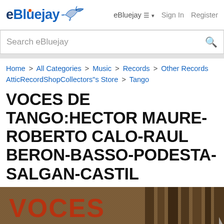eBluejay  eBluejay ≡ ▾  Sign In  Register
Search eBluejay
Home > All Categories > Music > Records > Other Records > AtticRecordShopCollectors"s Store > Tango
VOCES DE TANGO:HECTOR MAURE-ROBERTO CALO-RAUL BERON-BASSO-PODESTA-SALGAN-CASTIL
[Figure (photo): Product image showing a vinyl record album cover with red text reading VOCES DE on a brown/tan background]